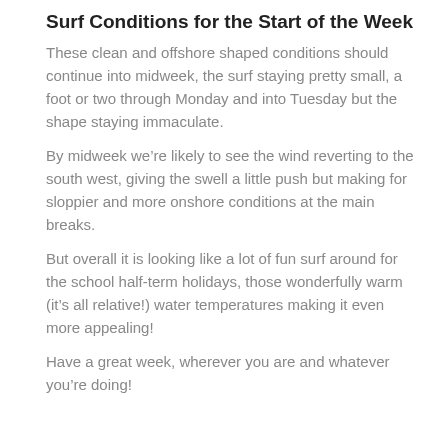Surf Conditions for the Start of the Week
These clean and offshore shaped conditions should continue into midweek, the surf staying pretty small, a foot or two through Monday and into Tuesday but the shape staying immaculate.
By midweek we’re likely to see the wind reverting to the south west, giving the swell a little push but making for sloppier and more onshore conditions at the main breaks.
But overall it is looking like a lot of fun surf around for the school half-term holidays, those wonderfully warm (it’s all relative!) water temperatures making it even more appealing!
Have a great week, wherever you are and whatever you’re doing!